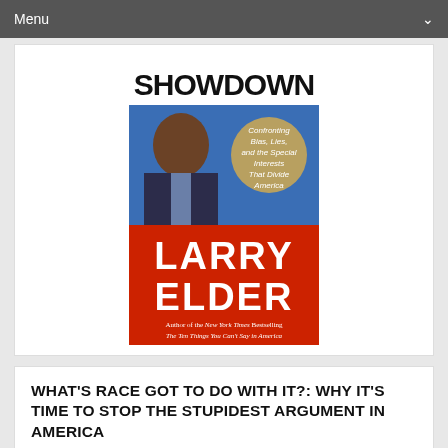Menu
[Figure (illustration): Book cover of 'Showdown' by Larry Elder. Top portion shows bold black text 'SHOWDOWN' on white background. Middle section has a blue background with a photo of Larry Elder (a Black man in a suit) on the left and a gold circular badge on the right reading 'Confronting Bias, Lies, and the Special Interests That Divide America'. Bottom red section shows 'LARRY ELDER' in large white text. Below that in smaller italic text: 'Author of the New York Times Bestselling The Ten Things You Can't Say in America'.]
WHAT'S RACE GOT TO DO WITH IT?: WHY IT'S TIME TO STOP THE STUPIDEST ARGUMENT IN AMERICA